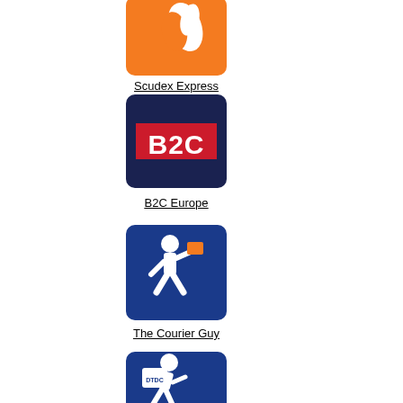[Figure (logo): Scudex Express logo - orange background with stylized white flame/leaf design]
Scudex Express
[Figure (logo): B2C Europe logo - dark navy background with red banner containing white bold B2C text]
B2C Europe
[Figure (logo): The Courier Guy logo - dark blue background with white running person carrying orange package]
The Courier Guy
[Figure (logo): DTDC logo - dark blue background with white running courier figure carrying DTDC branded bag]